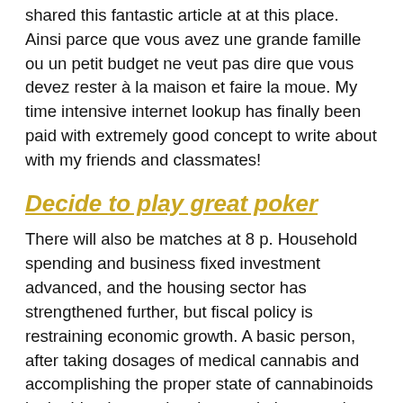shared this fantastic article at at this place. Ainsi parce que vous avez une grande famille ou un petit budget ne veut pas dire que vous devez rester à la maison et faire la moue. My time intensive internet lookup has finally been paid with extremely good concept to write about with my friends and classmates!
Decide to play great poker
There will also be matches at 8 p. Household spending and business fixed investment advanced, and the housing sector has strengthened further, but fiscal policy is restraining economic growth. A basic person, after taking dosages of medical cannabis and accomplishing the proper state of cannabinoids in the blood, can take pleasure in increased resistance, minimized vulnerability to cancer, delayed aging and decreased risk of stroke or cardiac arrest.
Betway instant games
Omega-6 and omega-3 extremely nourish the body and do not